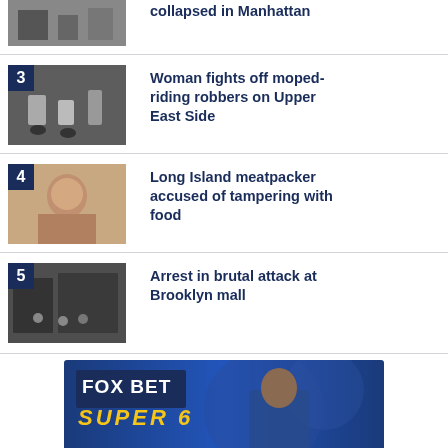[Figure (photo): Collapsed building scene in Manhattan - partial view at top]
collapsed in Manhattan
[Figure (photo): Security camera footage showing moped-riding robbers on Upper East Side, numbered badge 3]
Woman fights off moped-riding robbers on Upper East Side
[Figure (photo): Mugshot of a woman accused of food tampering, numbered badge 4]
Long Island meatpacker accused of tampering with food
[Figure (photo): Security camera footage of attack at Brooklyn mall, numbered badge 5]
Arrest in brutal attack at Brooklyn mall
[Figure (illustration): Fox Bet Super 6 advertisement - Free Chance to Win, College Football Challenge]